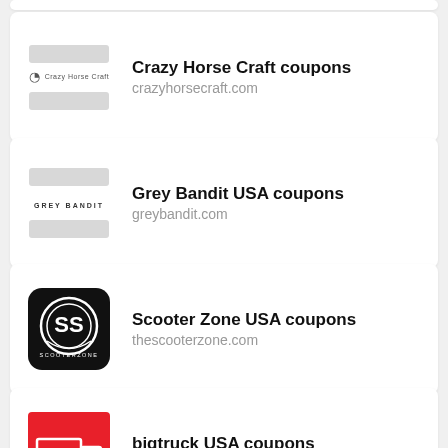[Figure (other): Partial card stub visible at top of page]
Crazy Horse Craft coupons
crazyhorsecraft.com
Grey Bandit USA coupons
greybandit.com
Scooter Zone USA coupons
thescooterzone.com
bigtruck USA coupons
bigtruck.com